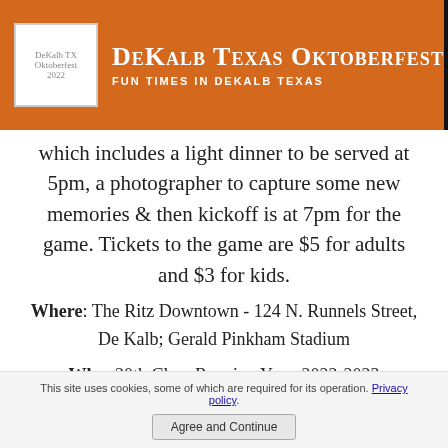DeKalb Texas Oktoberfest — FUN TIMES IN DEKALB TEXAS
which includes a light dinner to be served at 5pm, a photographer to capture some new memories & then kickoff is at 7pm for the game. Tickets to the game are $5 for adults and $3 for kids.
Where: The Ritz Downtown - 124 N. Runnels Street, De Kalb; Gerald Pinkham Stadium
Why: 20th Class Reunion Year, 2022-2023
Wear: Orange and Black!
This site uses cookies, some of which are required for its operation. Privacy policy.